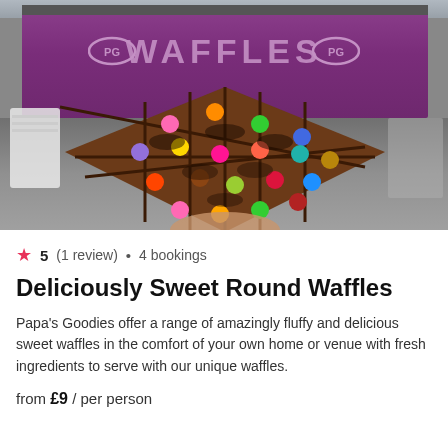[Figure (photo): Photo of a Belgian waffle topped with colorful chocolate candy pieces (Smarties/M&Ms) held in front of a purple food truck/stand with 'WAFFLES' text and PG logos on the sign.]
★ 5 (1 review) • 4 bookings
Deliciously Sweet Round Waffles
Papa's Goodies offer a range of amazingly fluffy and delicious sweet waffles in the comfort of your own home or venue with fresh ingredients to serve with our unique waffles.
from £9 / per person